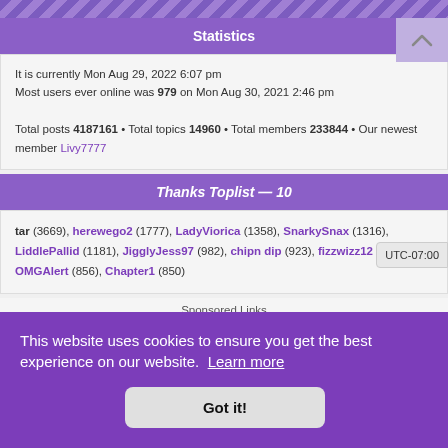[Figure (other): Diagonal stripe decorative bar in purple]
Statistics
It is currently Mon Aug 29, 2022 6:07 pm
Most users ever online was 979 on Mon Aug 30, 2021 2:46 pm

Total posts 4187161 • Total topics 14960 • Total members 233844 • Our newest member Livy7777
Thanks Toplist — 10
tar (3669), herewego2 (1777), LadyViorica (1358), SnarkySnax (1316), LiddlePallid (1181), JigglyJess97 (982), chipn dip (923), fizzwizz12 (914), OMGAlert (856), Chapter1 (850)
Sponsored Links
This website uses cookies to ensure you get the best experience on our website. Learn more
Got it!